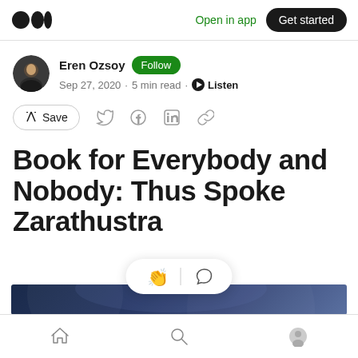Open in app  Get started
Eren Ozsoy  Follow
Sep 27, 2020 · 5 min read · Listen
[Figure (screenshot): Social sharing bar with Save button, Twitter, Facebook, LinkedIn, and link icons]
Book for Everybody and Nobody: Thus Spoke Zarathustra
[Figure (photo): Dark blue article header image strip at bottom of page]